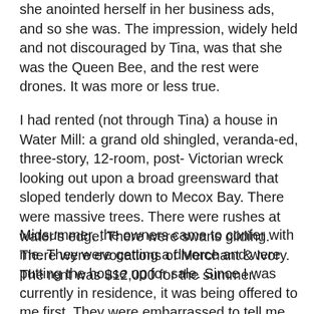she anointed herself in her business ads, and so she was. The impression, widely held and not discouraged by Tina, was that she was the Queen Bee, and the rest were drones. It was more or less true.
I had rented (not through Tina) a house in Water Mill: a grand old shingled, veranda-ed, three-story, 12-room, post- Victorian wreck looking out upon a broad greensward that sloped tenderly down to Mecox Bay. There were massive trees. There were rushes at water's edge. There were swans gliding. There were evocations of Merchant & Ivory. The rent was $12,000 for the summer.
Midsummer, the owners came to confer with me. They were getting a divorce and were putting the house up for sale. Since I was currently in residence, it was being offered to me first. They were embarrassed to tell me the asking price. “Things are getting crazy out here,” the husband said, red-faced. The